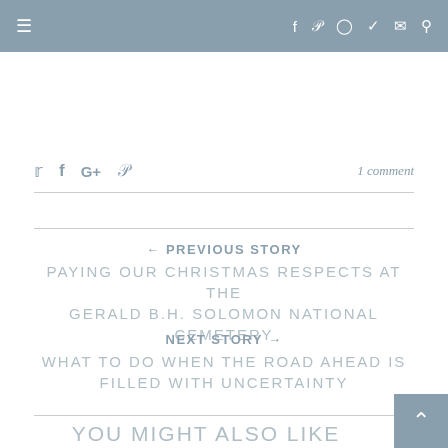≡  f  p  ◎  🐦  ✉  🔍
🐦  f  G+  p  1 comment
← PREVIOUS STORY
PAYING OUR CHRISTMAS RESPECTS AT THE GERALD B.H. SOLOMON NATIONAL CEMETERY
NEXT STORY →
WHAT TO DO WHEN THE ROAD AHEAD IS FILLED WITH UNCERTAINTY
YOU MIGHT ALSO LIKE